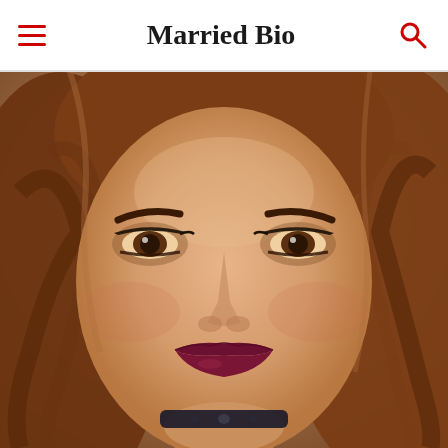Married Bio
[Figure (photo): Close-up portrait photo of a young woman with long wavy auburn/brown hair, heavy eye makeup with dark eyeliner and smoky eyeshadow, dark burgundy/wine-colored lipstick, and a black choker necklace. She appears to be at a formal or red-carpet event.]